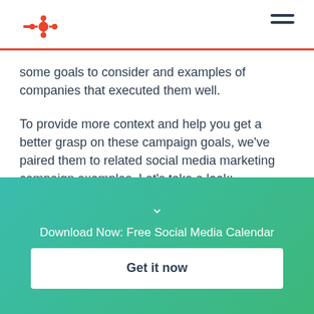HubSpot logo and navigation menu
some goals to consider and examples of companies that executed them well.
To provide more context and help you get a better grasp on these campaign goals, we've paired them to related social media marketing campaign examples. Let's take a look:
[Figure (infographic): Teal-to-green gradient CTA banner with chevron icon, download prompt text, and Get it now button]
Download Now: Free Social Media Calendar
Get it now